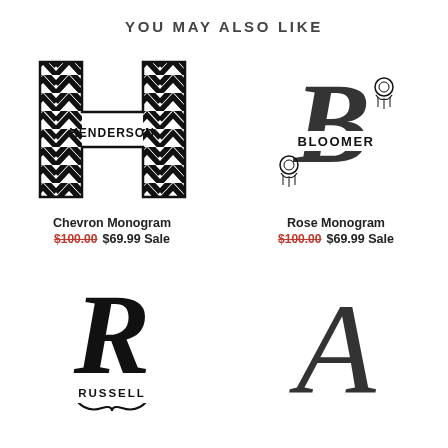YOU MAY ALSO LIKE
[Figure (illustration): Chevron pattern letter H monogram with HENDERSON text across the middle, black and white chevron stripes]
Chevron Monogram
$100.00  $69.99 Sale
[Figure (illustration): Floral rose monogram with large letter B and BLOOMER text across the middle, with rose flower decorations]
Rose Monogram
$100.00  $69.99 Sale
[Figure (illustration): Script monogram letter R with RUSSELL text at the bottom, decorative curls]
[Figure (illustration): Elegant italic letter A monogram]